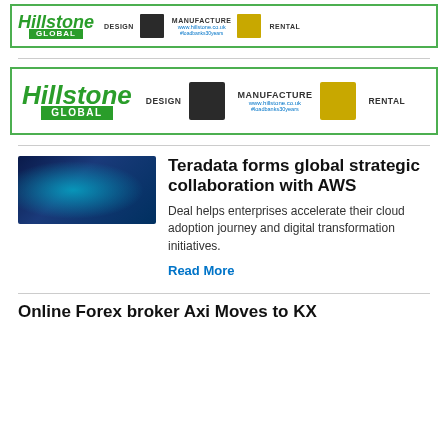[Figure (illustration): Hillstone Global advertisement banner (small) with logo, DESIGN, MANUFACTURE, RENTAL labels and equipment icons]
[Figure (illustration): Hillstone Global advertisement banner (large) with logo, DESIGN, MANUFACTURE, RENTAL labels and equipment icons]
[Figure (photo): Blue digital technology thumbnail image for Teradata/AWS article]
Teradata forms global strategic collaboration with AWS
Deal helps enterprises accelerate their cloud adoption journey and digital transformation initiatives.
Read More
Online Forex broker Axi Moves to KX